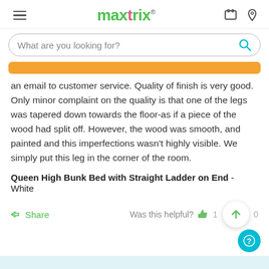maxtrix
an email to customer service. Quality of finish is very good. Only minor complaint on the quality is that one of the legs was tapered down towards the floor-as if a piece of the wood had split off. However, the wood was smooth, and painted and this imperfections wasn't highly visible. We simply put this leg in the corner of the room.
Queen High Bunk Bed with Straight Ladder on End - White
Share   Was this helpful?  1  0